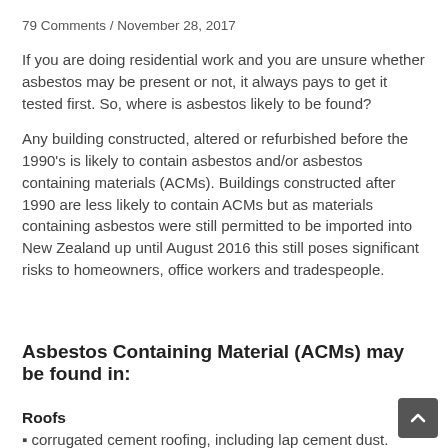79 Comments / November 28, 2017
If you are doing residential work and you are unsure whether asbestos may be present or not, it always pays to get it tested first. So, where is asbestos likely to be found?
Any building constructed, altered or refurbished before the 1990's is likely to contain asbestos and/or asbestos containing materials (ACMs). Buildings constructed after 1990 are less likely to contain ACMs but as materials containing asbestos were still permitted to be imported into New Zealand up until August 2016 this still poses significant risks to homeowners, office workers and tradespeople.
Asbestos Containing Material (ACMs) may be found in:
Roofs
⬜ corrugated cement roofing, including lap cement dust. (Debris in the roof space from a previous roof replacement may contain asbestos
⬜ guttering, downpipes, rainwater head
Ceilings